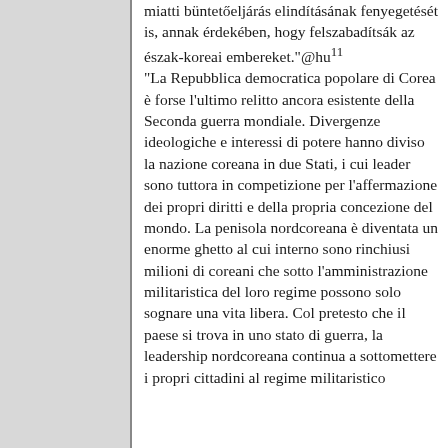miatti büntetőeljárás elindításának fenyegetését is, annak érdekében, hogy felszabadítsák az észak-koreai embereket."@hu¹¹ "La Repubblica democratica popolare di Corea è forse l'ultimo relitto ancora esistente della Seconda guerra mondiale. Divergenze ideologiche e interessi di potere hanno diviso la nazione coreana in due Stati, i cui leader sono tuttora in competizione per l'affermazione dei propri diritti e della propria concezione del mondo. La penisola nordcoreana è diventata un enorme ghetto al cui interno sono rinchiusi milioni di coreani che sotto l'amministrazione militaristica del loro regime possono solo sognare una vita libera. Col pretesto che il paese si trova in uno stato di guerra, la leadership nordcoreana continua a sottomettere i propri cittadini al regime militaristico